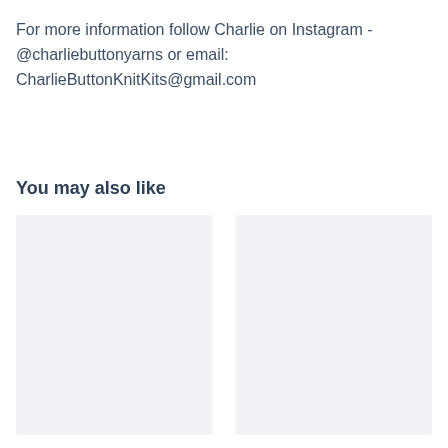For more information follow Charlie on Instagram - @charliebuttonyarns or email: CharlieButtonKnitKits@gmail.com
You may also like
[Figure (photo): Two image placeholder boxes side by side, light gray background]